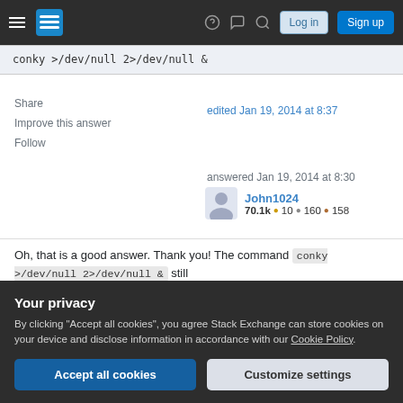Stack Exchange navigation bar with Log in and Sign up buttons
conky >/dev/null 2>/dev/null &
Share
Improve this answer
Follow
edited Jan 19, 2014 at 8:37
answered Jan 19, 2014 at 8:30
John1024
70.1k ● 10 ● 160 ● 158
Oh, that is a good answer. Thank you! The command conky >/dev/null 2>/dev/null & still
Your privacy
By clicking "Accept all cookies", you agree Stack Exchange can store cookies on your device and disclose information in accordance with our Cookie Policy.
Accept all cookies
Customize settings